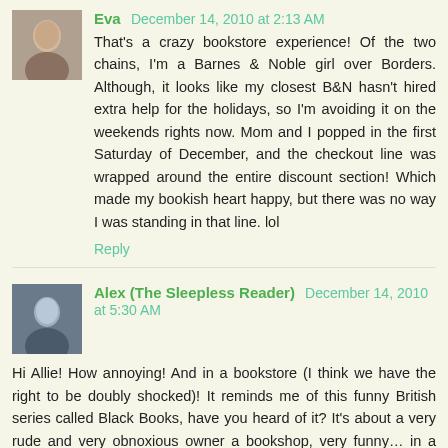[Figure (photo): Avatar photo of Eva, a woman]
Eva December 14, 2010 at 2:13 AM
That's a crazy bookstore experience! Of the two chains, I'm a Barnes & Noble girl over Borders. Although, it looks like my closest B&N hasn't hired extra help for the holidays, so I'm avoiding it on the weekends rights now. Mom and I popped in the first Saturday of December, and the checkout line was wrapped around the entire discount section! Which made my bookish heart happy, but there was no way I was standing in that line. lol
Reply
[Figure (photo): Avatar photo of Alex (The Sleepless Reader)]
Alex (The Sleepless Reader) December 14, 2010 at 5:30 AM
Hi Allie! How annoying! And in a bookstore (I think we have the right to be doubly shocked)! It reminds me of this funny British series called Black Books, have you heard of it? It's about a very rude and very obnoxious owner a bookshop, very funny… in a British way :)
Good luck with the read-alongs. I'll only join for the March